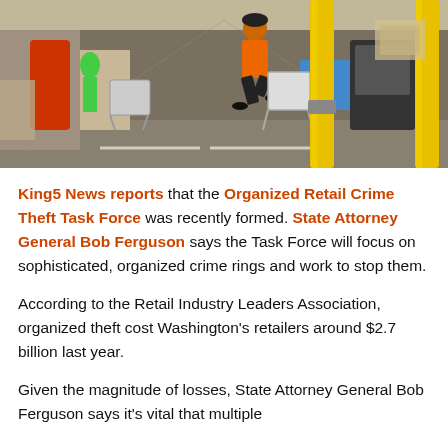[Figure (photo): Security camera footage from inside a retail store (appears to be Home Depot) showing a person in an orange shirt and dark pants running through the store aisle, pushing a shopping cart. Yellow bollard poles and red equipment visible.]
King5 News reports that the Organized Retail Crime Theft Task Force was recently formed. State Attorney General Bob Ferguson says the Task Force will focus on sophisticated, organized crime rings and work to stop them.
According to the Retail Industry Leaders Association, organized theft cost Washington's retailers around $2.7 billion last year.
Given the magnitude of losses, State Attorney General Bob Ferguson says it's vital that multiple